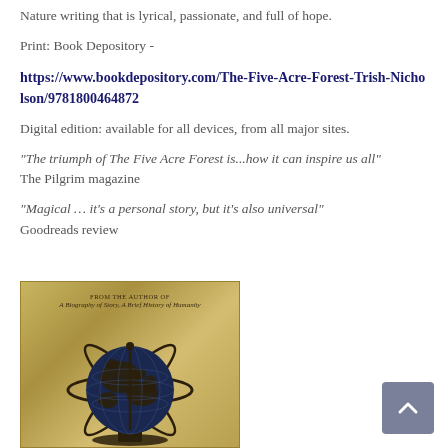Nature writing that is lyrical, passionate, and full of hope.
Print: Book Depository -
https://www.bookdepository.com/The-Five-Acre-Forest-Trish-Nicholson/9781800464872
Digital edition: available for all devices, from all major sites.
“The triumph of The Five Acre Forest is...how it can inspire us all” The Pilgrim magazine
“Magical … it’s a personal story, but it’s also universal” Goodreads review
[Figure (photo): Book cover showing a globe/armillary sphere illustration on aged parchment background, with text 'FROM THE AUTHOR OF A Biography of Story, A Brief History of Humanity' at top]